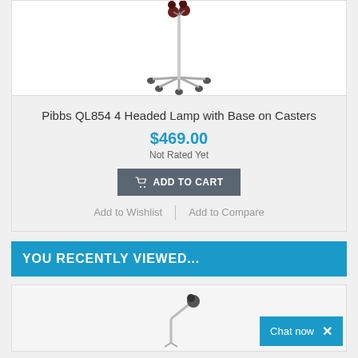[Figure (photo): Pibbs QL854 4 headed lamp with base on casters — tall floor lamp with multiple heads on a wheeled base, white background]
Pibbs QL854 4 Headed Lamp with Base on Casters
$469.00
Not Rated Yet
ADD TO CART
Add to Wishlist
Add to Compare
YOU RECENTLY VIEWED...
[Figure (photo): Small lamp product image in recently viewed section]
Chat now